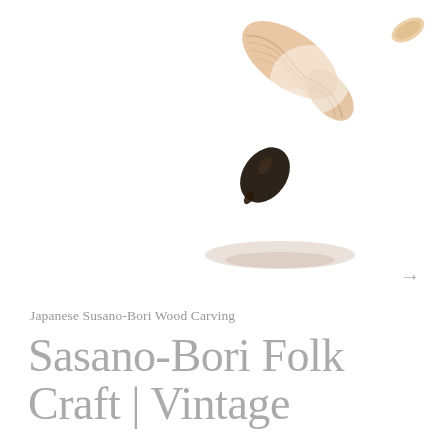[Figure (photo): Close-up photograph of a Japanese Susano-Bori wood carved bird/spoon object with dark polished head and light wooden body, on white background. A small wood chip visible in upper right corner.]
→
Japanese Susano-Bori Wood Carving
Sasano-Bori Folk Craft | Vintage